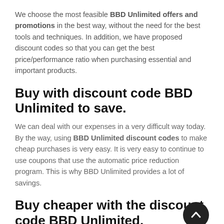We choose the most feasible BBD Unlimited offers and promotions in the best way, without the need for the best tools and techniques. In addition, we have proposed discount codes so that you can get the best price/performance ratio when purchasing essential and important products.
Buy with discount code BBD Unlimited to save.
We can deal with our expenses in a very difficult way today. By the way, using BBD Unlimited discount codes to make cheap purchases is very easy. It is very easy to continue to use coupons that use the automatic price reduction program. This is why BBD Unlimited provides a lot of savings.
Buy cheaper with the discount code BBD Unlimited.
Since the financial crisis, sales brands have realized that not